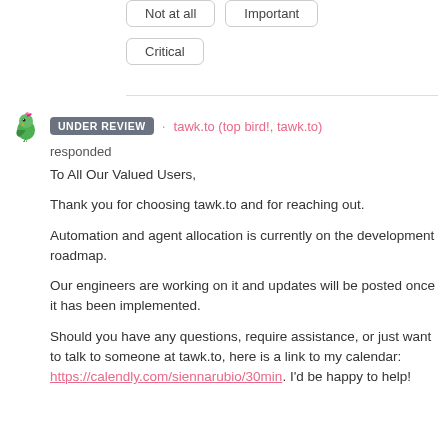Not at all
Important
Critical
UNDER REVIEW · tawk.to (top bird!, tawk.to) responded
To All Our Valued Users,

Thank you for choosing tawk.to and for reaching out.

Automation and agent allocation is currently on the development roadmap.

Our engineers are working on it and updates will be posted once it has been implemented.

Should you have any questions, require assistance, or just want to talk to someone at tawk.to, here is a link to my calendar: https://calendly.com/siennarubio/30min. I'd be happy to help!